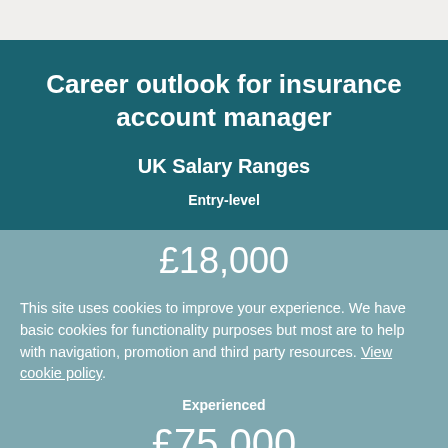Career outlook for insurance account manager
UK Salary Ranges
Entry-level
£18,000
This site uses cookies to improve your experience. We have basic cookies for functionality purposes but most are to help with navigation, promotion and third party resources. View cookie policy.
Experienced
£75,000
Necessary cookies
Currently employed in Scotland